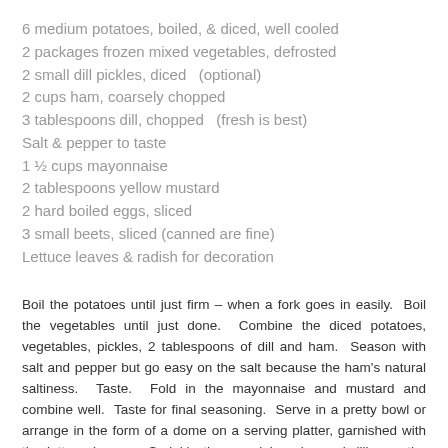6 medium potatoes, boiled, & diced, well cooled
2 packages frozen mixed vegetables, defrosted
2 small dill pickles, diced  (optional)
2 cups ham, coarsely chopped
3 tablespoons dill, chopped  (fresh is best)
Salt & pepper to taste
1 ½ cups mayonnaise
2 tablespoons yellow mustard
2 hard boiled eggs, sliced
3 small beets, sliced (canned are fine)
Lettuce leaves & radish for decoration
Boil the potatoes until just firm – when a fork goes in easily.  Boil the vegetables until just done.  Combine the diced potatoes, vegetables, pickles, 2 tablespoons of dill and ham.  Season with salt and pepper but go easy on the salt because the ham's natural saltiness.  Taste.  Fold in the mayonnaise and mustard and combine well.  Taste for final seasoning.  Serve in a pretty bowl or arrange in the form of a dome on a serving platter, garnished with the lettuce leaves.  Sprinkle the remaining chopped dill over the top.  Decorate creatively with the sliced eggs and beets.  Serve at room temperature.  Smacznego!